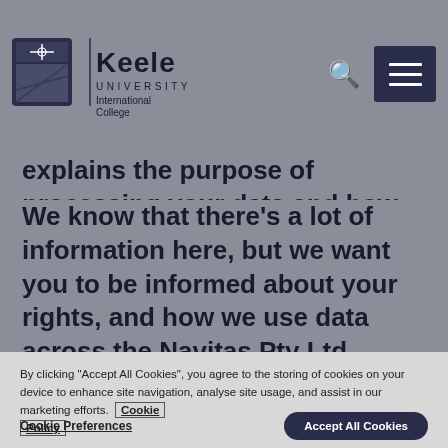Keele University | International College
explains the purpose of processing your data and how we keep it safe.
We know that there's a lot of information here, but we want you to be informed about your rights, and how we use data across the Navitas Pty Ltd Group of companies to provide you with the best possible service.
By clicking "Accept All Cookies", you agree to the storing of cookies on your device to enhance site navigation, analyse site usage, and assist in our marketing efforts. Cookie Policy
Cookie Preferences
Accept All Cookies